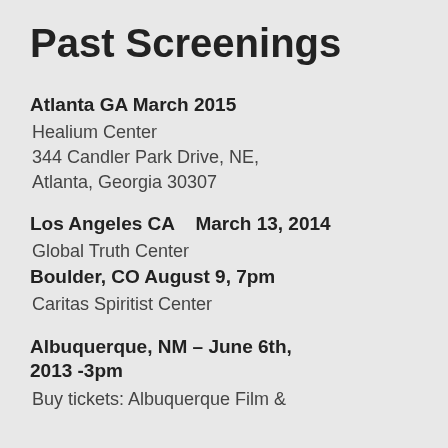Past Screenings
Atlanta GA March 2015
Healium Center
344 Candler Park Drive, NE,
Atlanta, Georgia 30307
Los Angeles CA   March 13, 2014
Global Truth Center
Boulder, CO August 9, 7pm
Caritas Spiritist Center
Albuquerque, NM – June 6th, 2013 -3pm
Buy tickets: Albuquerque Film &